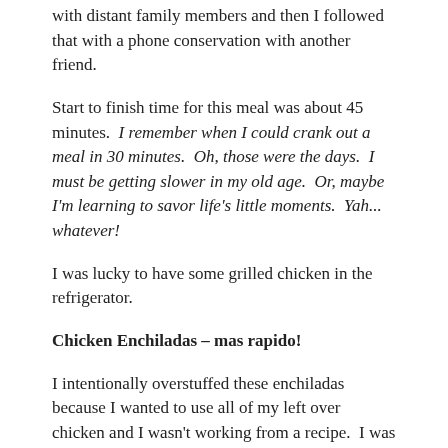with distant family members and then I followed that with a phone conservation with another friend.
Start to finish time for this meal was about 45 minutes.  I remember when I could crank out a meal in 30 minutes.  Oh, those were the days.  I must be getting slower in my old age.  Or, maybe I'm learning to savor life's little moments.  Yah... whatever!
I was lucky to have some grilled chicken in the refrigerator.
Chicken Enchiladas – mas rapido!
I intentionally overstuffed these enchiladas because I wanted to use all of my left over chicken and I wasn't working from a recipe.  I was doing the thing I do best...